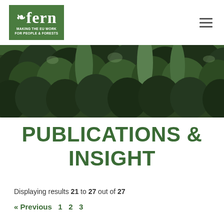fern - MAKING THE EU WORK FOR PEOPLE & FORESTS
[Figure (photo): Aerial view of a dense tropical forest canopy with tall trees and lush green foliage]
PUBLICATIONS & INSIGHT
Displaying results 21 to 27 out of 27
« Previous 1 2 3